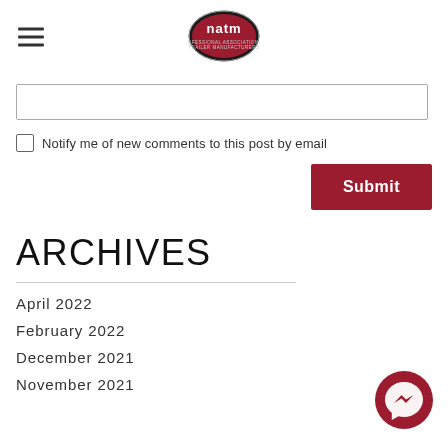[Figure (logo): NATM (National Association of Trailer Manufacturers) oval logo with red background and white text]
Notify me of new comments to this post by email
Submit
ARCHIVES
April 2022
February 2022
December 2021
November 2021
[Figure (illustration): Facebook Messenger chat button icon, dark red circle with white messenger lightning bolt symbol]